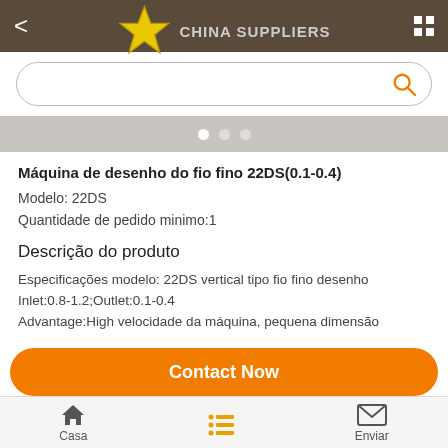< CHINA SUPPLIERS (logo/nav bar)
[Figure (screenshot): China Suppliers app logo with gold star and search bar]
Máquina de desenho do fio fino 22DS(0.1-0.4)
Modelo: 22DS
Quantidade de pedido minimo:1
Descrição do produto
Especificações modelo: 22DS vertical tipo fio fino desenho
Inlet:0.8-1.2;Outlet:0.1-0.4
Advantage:High velocidade da máquina, pequena dimensão
Contact Now
Casa    Enviar